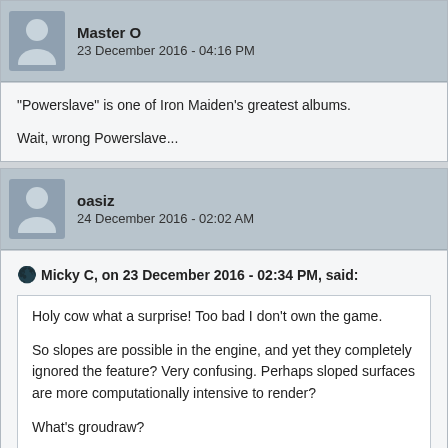Master O
23 December 2016 - 04:16 PM
"Powerslave" is one of Iron Maiden's greatest albums.

Wait, wrong Powerslave...
oasiz
24 December 2016 - 02:02 AM
Micky C, on 23 December 2016 - 02:34 PM, said:
Holy cow what a surprise! Too bad I don't own the game.

So slopes are possible in the engine, and yet they completely ignored the feature? Very confusing. Perhaps sloped surfaces are more computationally intensive to render?

What's groudraw?
Yeah, predates slopes. You can see it some old kenbuild videos...